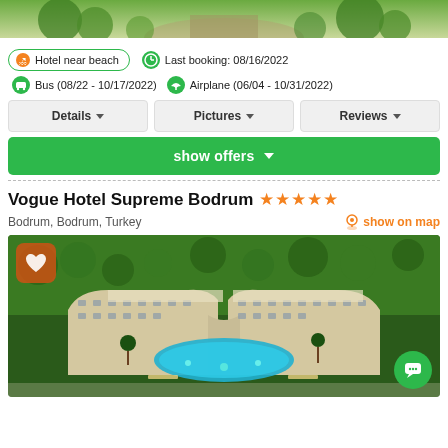[Figure (photo): Top partial photo of outdoor area with greenery/garden]
🏖 Hotel near beach   🕐 Last booking: 08/16/2022
🚌 Bus (08/22 - 10/17/2022)  ✈ Airplane (06/04 - 10/31/2022)
Details | Pictures | Reviews
show offers
Vogue Hotel Supreme Bodrum ★★★★★
Bodrum, Bodrum, Turkey   show on map
[Figure (photo): Aerial view of Vogue Hotel Supreme Bodrum showing large crescent-shaped hotel building with pool, palm trees, and surrounding greenery]